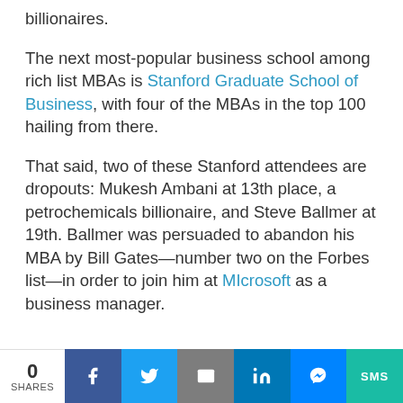billionaires.
The next most-popular business school among rich list MBAs is Stanford Graduate School of Business, with four of the MBAs in the top 100 hailing from there.
That said, two of these Stanford attendees are dropouts: Mukesh Ambani at 13th place, a petrochemicals billionaire, and Steve Ballmer at 19th. Ballmer was persuaded to abandon his MBA by Bill Gates—number two on the Forbes list—in order to join him at MIcrosoft as a business manager.
0 SHARES | Facebook | Twitter | Email | LinkedIn | Messenger | SMS